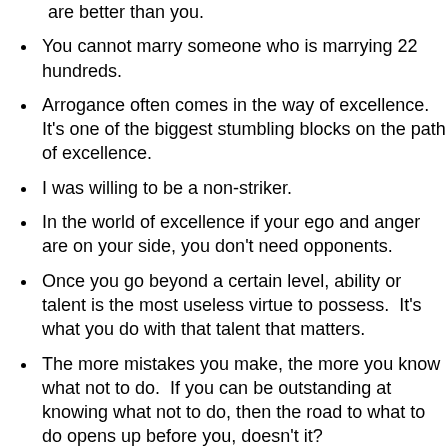are better than you.
You cannot marry someone who is marrying 22 hundreds.
Arrogance often comes in the way of excellence.  It's one of the biggest stumbling blocks on the path of excellence.
I was willing to be a non-striker.
In the world of excellence if your ego and anger are on your side, you don't need opponents.
Once you go beyond a certain level, ability or talent is the most useless virtue to possess.  It's what you do with that talent that matters.
The more mistakes you make, the more you know what not to do.  If you can be outstanding at knowing what not to do, then the road to what to do opens up before you, doesn't it?
I think excellence is more about humility, actually, even more than luck.  Because unless you are humble you'll never hang around, you'll never be